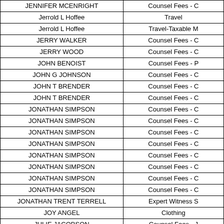| Name | Category |
| --- | --- |
| JENNIFER MCENRIGHT | Counsel Fees - C |
| Jerrold L Hoffee | Travel |
| Jerrold L Hoffee | Travel-Taxable M |
| JERRY WALKER | Counsel Fees - C |
| JERRY WOOD | Counsel Fees - C |
| JOHN BENOIST | Counsel Fees - P |
| JOHN G JOHNSON | Counsel Fees - C |
| JOHN T BRENDER | Counsel Fees - C |
| JOHN T BRENDER | Counsel Fees - C |
| JONATHAN SIMPSON | Counsel Fees - C |
| JONATHAN SIMPSON | Counsel Fees - C |
| JONATHAN SIMPSON | Counsel Fees - C |
| JONATHAN SIMPSON | Counsel Fees - C |
| JONATHAN SIMPSON | Counsel Fees - C |
| JONATHAN SIMPSON | Counsel Fees - C |
| JONATHAN SIMPSON | Counsel Fees - C |
| JONATHAN SIMPSON | Counsel Fees - C |
| JONATHAN TRENT TERRELL | Expert Witness S |
| JOY ANGEL | Clothing |
| JULIE JACOBSON | Counsel Fees - J |
| JUSTIN DENNIS MURRAY | Counsel Fees - C |
| JUSTIN DENNIS MURRAY | Counsel Fees - C |
| JUSTIN DENNIS MURRAY | Counsel Fees - C |
| KALERE JACOB COLEMAN | Counsel Fees - C |